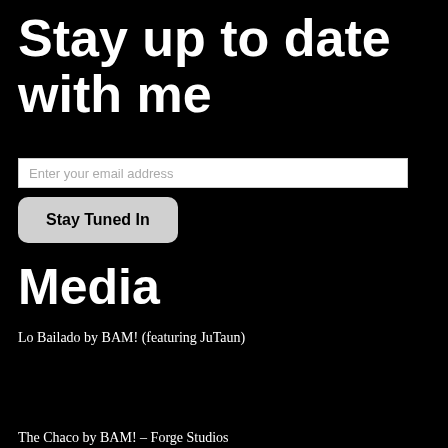Stay up to date with me
Enter your email address
Stay Tuned In
Media
Lo Bailado by BAM! (featuring JuTaun)
The Chaco by BAM! – Forge Studios